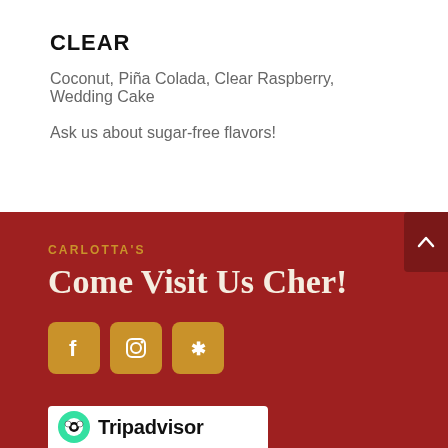CLEAR
Coconut, Piña Colada, Clear Raspberry, Wedding Cake
Ask us about sugar-free flavors!
CARLOTTA'S
Come Visit Us Cher!
[Figure (other): Social media icons: Facebook, Instagram, Yelp — gold rounded square buttons]
[Figure (logo): Tripadvisor logo with green owl icon and Tripadvisor text]